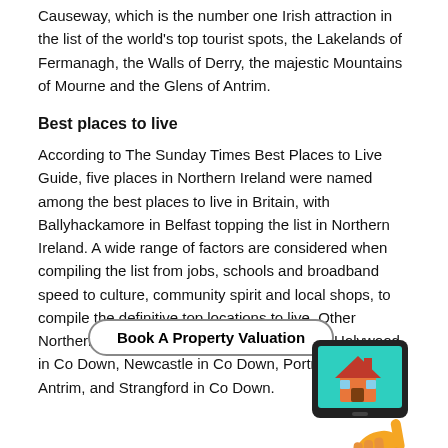Causeway, which is the number one Irish attraction in the list of the world's top tourist spots, the Lakelands of Fermanagh, the Walls of Derry, the majestic Mountains of Mourne and the Glens of Antrim.
Best places to live
According to The Sunday Times Best Places to Live Guide, five places in Northern Ireland were named among the best places to live in Britain, with Ballyhackamore in Belfast topping the list in Northern Ireland. A wide range of factors are considered when compiling the list from jobs, schools and broadband speed to culture, community spirit and local shops, to compile the definitive top locations to live. Other Northern Ireland locations on the list include Holywood in Co Down, Newcastle in Co Down, Portrush in Co Antrim, and Strangford in Co Down.
[Figure (illustration): A tablet device showing a house icon with a hand pressing it, representing an online property valuation tool. Teal/green background on the screen.]
Book A Property Valuation
Property market
During the first quarter of this year, Northern Ireland led to house price growth across the UK with a 7.9% increase on last year. However, with unemployment now at a 10-year